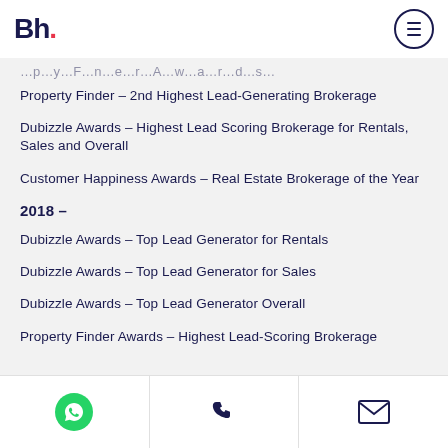Bh.
Property Finder – 2nd Highest Lead-Generating Brokerage
Dubizzle Awards – Highest Lead Scoring Brokerage for Rentals, Sales and Overall
Customer Happiness Awards – Real Estate Brokerage of the Year
2018 –
Dubizzle Awards – Top Lead Generator for Rentals
Dubizzle Awards – Top Lead Generator for Sales
Dubizzle Awards – Top Lead Generator Overall
Property Finder Awards – Highest Lead-Scoring Brokerage
WhatsApp | Phone | Email